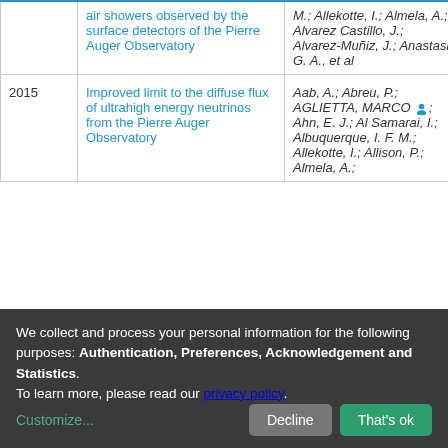| Year | Title | Authors | Access |
| --- | --- | --- | --- |
|  | air showers observed by the surface detectors of the Pierre Auger Observatory | M.; Allekotte, I.; Almela, A.; Alvarez Castillo, J.; Alvarez-Muñiz, J.; Anastasi, G. A., et al |  |
| 2015 | Improved limit to the diffuse flux of ultrahigh energy neutrinos from the Pierre Auger Observatory | Aab, A.; Abreu, P.; AGLIETTA, MARCO [icon]; Ahn, E. J.; Al Samarai, I.; Albuquerque, I. F. M.; Allekotte, I.; Allison, P.; Almela, A.; | open |
We collect and process your personal information for the following purposes: Authentication, Preferences, Acknowledgement and Statistics. To learn more, please read our privacy policy.